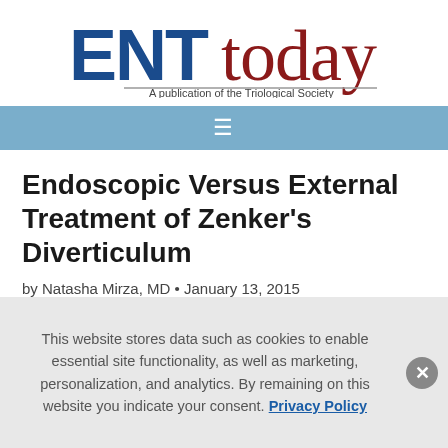[Figure (logo): ENTtoday logo — 'ENT' in bold dark blue sans-serif, 'today' in dark red serif, with tagline 'A publication of the Triological Society' beneath a gray ruled line]
[Figure (other): Light blue navigation bar with white hamburger menu icon (three horizontal lines)]
Endoscopic Versus External Treatment of Zenker's Diverticulum
by Natasha Mirza, MD • January 13, 2015
This website stores data such as cookies to enable essential site functionality, as well as marketing, personalization, and analytics. By remaining on this website you indicate your consent. Privacy Policy